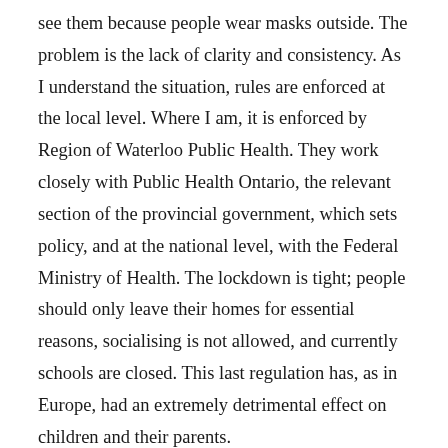see them because people wear masks outside. The problem is the lack of clarity and consistency. As I understand the situation, rules are enforced at the local level. Where I am, it is enforced by Region of Waterloo Public Health. They work closely with Public Health Ontario, the relevant section of the provincial government, which sets policy, and at the national level, with the Federal Ministry of Health. The lockdown is tight; people should only leave their homes for essential reasons, socialising is not allowed, and currently schools are closed. This last regulation has, as in Europe, had an extremely detrimental effect on children and their parents.
A large part of the problem is the Provincial Government, run by the Progressive Conservative Party of Ontario under the leadership of Doug Ford. The world over, conservative governments have reduced public health expenditures and